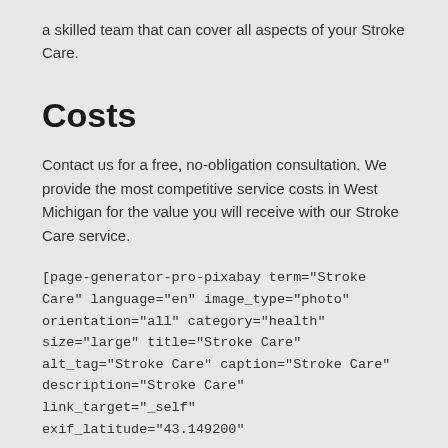a skilled team that can cover all aspects of your Stroke Care.
Costs
Contact us for a free, no-obligation consultation. We provide the most competitive service costs in West Michigan for the value you will receive with our Stroke Care service.
[page-generator-pro-pixabay term="Stroke Care" language="en" image_type="photo" orientation="all" category="health" size="large" title="Stroke Care" alt_tag="Stroke Care" caption="Stroke Care" description="Stroke Care" link_target="_self" exif_latitude="43.149200"